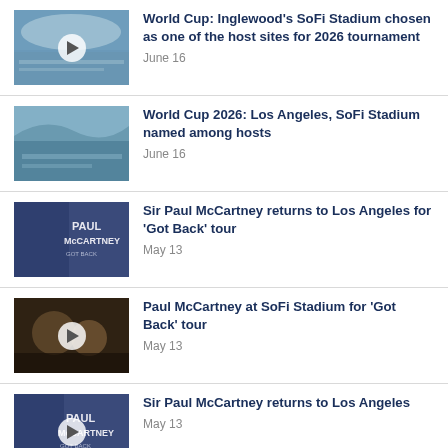World Cup: Inglewood's SoFi Stadium chosen as one of the host sites for 2026 tournament
June 16
World Cup 2026: Los Angeles, SoFi Stadium named among hosts
June 16
Sir Paul McCartney returns to Los Angeles for 'Got Back' tour
May 13
Paul McCartney at SoFi Stadium for 'Got Back' tour
May 13
Sir Paul McCartney returns to Los Angeles
May 13